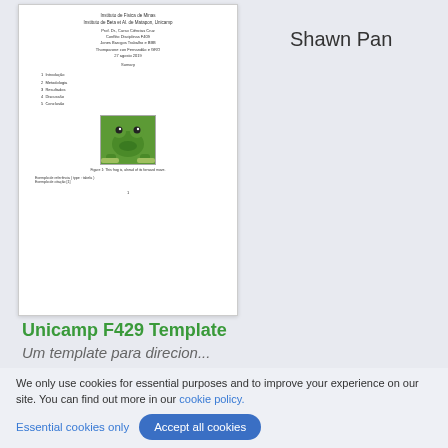[Figure (screenshot): Thumbnail of a document page showing a Brazilian/Portuguese academic paper from Unicamp with title, author info, table of contents, and a frog image]
Shawn Pan
Unicamp F429 Template
Um template para direcion...
Giovanne Lucas Dias
Pereira Mariano
We only use cookies for essential purposes and to improve your experience on our site. You can find out more in our cookie policy.
Essential cookies only
Accept all cookies